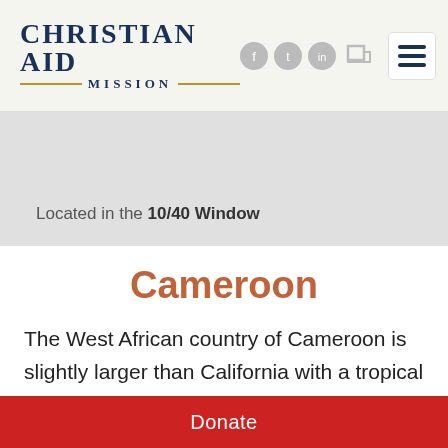CHRISTIAN AID MISSION
Located in the 10/40 Window
Cameroon
The West African country of Cameroon is slightly larger than California with a tropical coast along the Bight of Biafra in the southwest, semiarid plains in the north, and
Donate